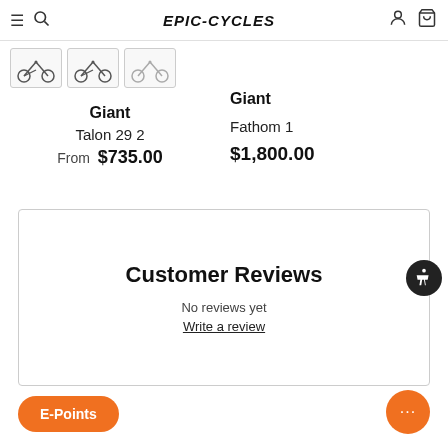EPIC-CYCLES
[Figure (screenshot): Three bicycle thumbnail images in a row]
Giant
Talon 29 2
From $735.00
Giant
Fathom 1
$1,800.00
[Figure (illustration): Accessibility icon button (circle with person icon)]
Customer Reviews
No reviews yet
Write a review
E-Points
[Figure (illustration): Orange chat bubble button with ellipsis]